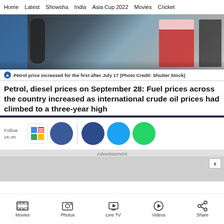Home   Latest   Showsha   India   Asia Cup 2022   Movies   Cricket
[Figure (photo): Person at a petrol/fuel pump station, wearing blue apron, holding a fuel nozzle. Red and white fuel dispensers visible in background.]
Petrol price increased for the first after July 17 (Photo Credit: Shutter Stock)
Petrol, diesel prices on September 28: Fuel prices across the country increased as international crude oil prices had climbed to a three-year high
[Figure (infographic): Social media follow icons: Google News icon, Facebook (blue circle), another blue circle, Twitter (light blue circle), WhatsApp (green circle). Text 'Follow us on' on left.]
Advertisement
Movies   Photos   Live TV   Videos   Share